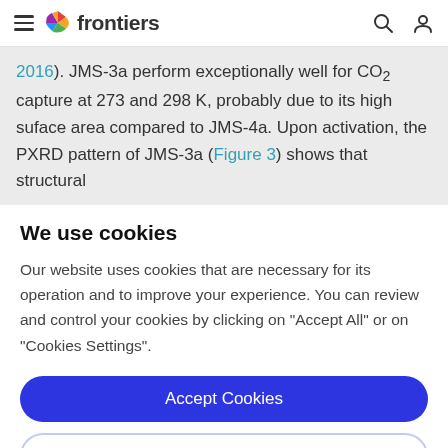frontiers
2016). JMS-3a perform exceptionally well for CO₂ capture at 273 and 298 K, probably due to its high suface area compared to JMS-4a. Upon activation, the PXRD pattern of JMS-3a (Figure 3) shows that structural
We use cookies
Our website uses cookies that are necessary for its operation and to improve your experience. You can review and control your cookies by clicking on "Accept All" or on "Cookies Settings".
Accept Cookies
Cookies Settings